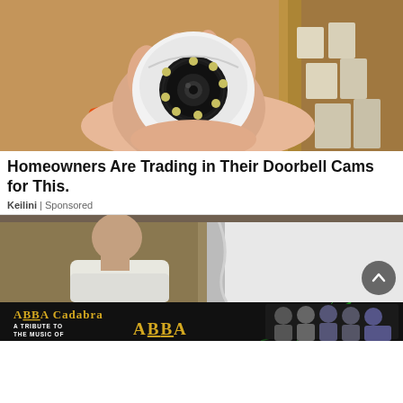[Figure (photo): A hand holding a small white PTZ security camera with LED ring, with a drill visible and boxes in background.]
Homeowners Are Trading in Their Doorbell Cams for This.
Keilini | Sponsored
[Figure (photo): A person with a shaved head viewed from behind, standing in front of a beige/tan wall being painted white.]
[Figure (photo): ABBA Cadabra - A Tribute to the Music of ABBA advertisement banner with band members.]